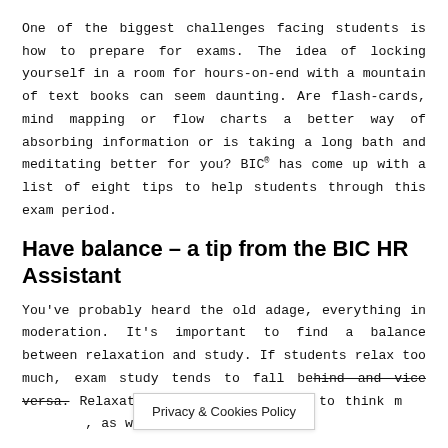One of the biggest challenges facing students is how to prepare for exams. The idea of locking yourself in a room for hours-on-end with a mountain of text books can seem daunting. Are flash-cards, mind mapping or flow charts a better way of absorbing information or is taking a long bath and meditating better for you? BIC® has come up with a list of eight tips to help students through this exam period.
Have balance – a tip from the BIC HR Assistant
You've probably heard the old adage, everything in moderation. It's important to find a balance between relaxation and study. If students relax too much, exam study tends to fall behind and vice versa. Relaxation can help the mind to think more clearly, as well as